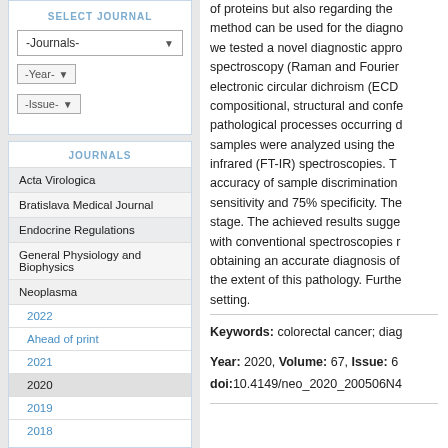SELECT JOURNAL
-Journals-
-Year-
-Issue-
JOURNALS
Acta Virologica
Bratislava Medical Journal
Endocrine Regulations
General Physiology and Biophysics
Neoplasma
2022
Ahead of print
2021
2020
2019
2018
of proteins but also regarding the method can be used for the diagnosis we tested a novel diagnostic approach spectroscopy (Raman and Fourier electronic circular dichroism (ECD compositional, structural and conformal pathological processes occurring during samples were analyzed using the infrared (FT-IR) spectroscopies. The accuracy of sample discrimination sensitivity and 75% specificity. The stage. The achieved results suggest with conventional spectroscopies obtaining an accurate diagnosis of the extent of this pathology. Further setting.
Keywords: colorectal cancer; diag
Year: 2020, Volume: 67, Issue: 6
doi:10.4149/neo_2020_200506N4